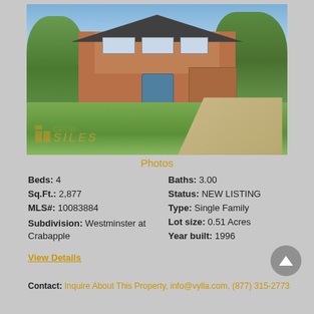[Figure (photo): Exterior photo of a two-story brick single-family home with circular driveway, green lawn, and trees in background. Georgia MLS watermark visible.]
Photos
Beds: 4
Baths: 3.00
Sq.Ft.: 2,877
Status: NEW LISTING
MLS#: 10083884
Type: Single Family
Subdivision: Westminster at Crabapple
Lot size: 0.51 Acres
Year built: 1996
View Details
Contact: Inquire About This Property, info@vylla.com, (877) 315-2773